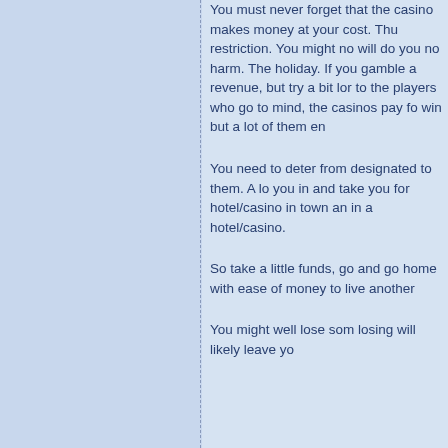You must never forget that the casino makes money at your cost. Thus, there really is no restriction. You might not win much, but it will do you no harm. The casino is a day holiday. If you gamble a lot, the casinos win revenue, but try a bit longer to be charitable to the players who go to visit. With this in mind, the casinos pay for a few players who win but a lot of them end up losing.
You need to deter from spending money not designated to them. A lot of casinos will rope you in and take you for a ride. Find the best hotel/casino in town and limit your spending in a hotel/casino.
So take a little funds, go have a good time, and go home with ease knowing you still lots of money to live another day.
You might well lose some money but the losing will likely leave you feeling satisfied.